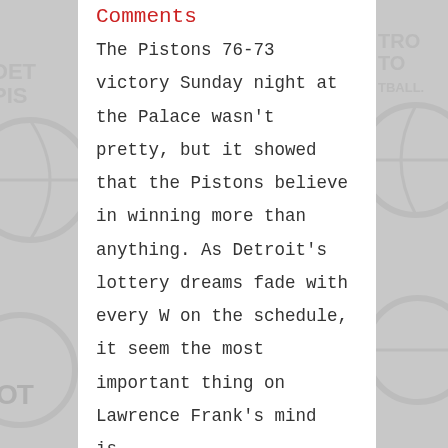Comments
The Pistons 76-73 victory Sunday night at the Palace wasn't pretty, but it showed that the Pistons believe in winning more than anything. As Detroit's lottery dreams fade with every W on the schedule, it seem the most important thing on Lawrence Frank's mind is...
read more